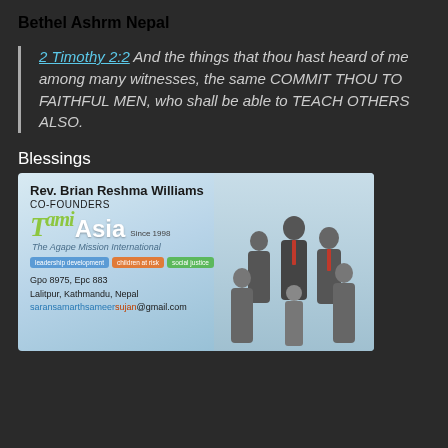Bethel Ashrm Nepal
2 Timothy 2:2 And the things that thou hast heard of me among many witnesses, the same COMMIT THOU TO FAITHFUL MEN, who shall be able to TEACH OTHERS ALSO.
Blessings
[Figure (infographic): TAMI Asia - The Agape Mission International card. Rev. Brian Reshma Williams, CO-FOUNDERS. Logo with green TAMI and white Asia text, Since 1998. Tags: leadership development, children at risk, social justice. Address: Gpo 8975, Epc 883, Lalitpur, Kathmandu, Nepal. Email: saransamarthsameersujan@gmail.com. Group photo of people in suits on right side.]